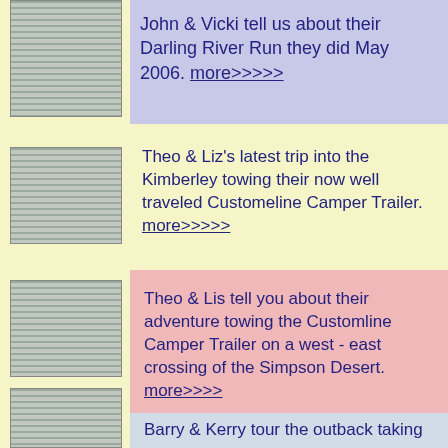John & Vicki tell us about their Darling River Run they did May 2006. more>>>>>
Theo & Liz's latest trip into the Kimberley towing their now well traveled Customeline Camper Trailer. more>>>>>
Theo & Lis tell you about their adventure towing the Customline Camper Trailer on a west - east crossing of the Simpson Desert. more>>>>
Barry & Kerry tour the outback taking